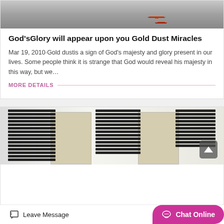[Figure (photo): Top portion of a photo showing industrial or warehouse scene with red machinery/equipment on a grey floor]
God'sGlory will appear upon you Gold Dust Miracles
Mar 19, 2010·Gold dustis a sign of God's majesty and glory present in our lives. Some people think it is strange that God would reveal his majesty in this way, but we…
MORE DETAILS
[Figure (photo): Photo of stacked black industrial panels/sheets on wooden pallets in a warehouse, with a scroll-to-top button overlay]
Leave Message   Chat Online